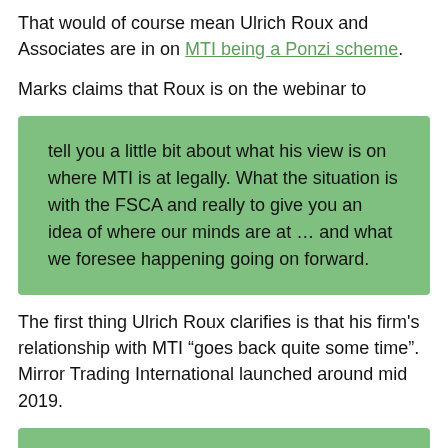That would of course mean Ulrich Roux and Associates are in on MTI being a Ponzi scheme.
Marks claims that Roux is on the webinar to
tell you a little bit about what his view is on where MTI is at legally. What the situation is with the FSCA and really to give you an idea of where our minds are at … and what we foresee happening going on forward.
The first thing Ulrich Roux clarifies is that his firm's relationship with MTI “goes back quite some time”. Mirror Trading International launched around mid 2019.
We’ve always believed in the MTI strategy and in